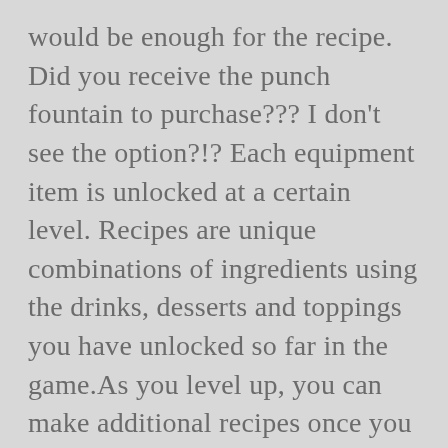would be enough for the recipe. Did you receive the punch fountain to purchase??? I don't see the option?!? Each equipment item is unlocked at a certain level. Recipes are unique combinations of ingredients using the drinks, desserts and toppings you have unlocked so far in the game.As you level up, you can make additional recipes once you purchase the newest equipment available for your level.. New recipes have to be made once to be unlocked and sold in your café. Fast & Free. 20. We are a European-style café— a casual, comfortable experience with no waiters. We only use the finest ingredients to create the perfect treat for breakfast, snacks and sweet & savory options. A...